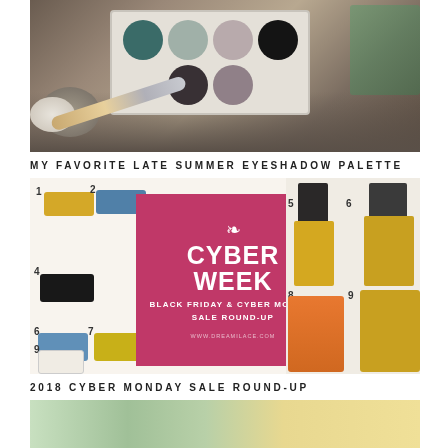[Figure (photo): Eyeshadow palette with makeup brush on rocks — dark teal, grey, mauve, black, dark brown, and taupe shadow pans in a light grey palette case, with a makeup brush resting beside it on pebbles]
MY FAVORITE LATE SUMMER EYESHADOW PALETTE
[Figure (infographic): Cyber Week Black Friday & Cyber Monday Sale Round-Up graphic showing numbered shoes collage on left, pink center overlay reading 'CYBER WEEK / BLACK FRIDAY & CYBER MONDAY / SALE ROUND-UP / www.dreamilace.com', and fashion outfit photos with mustard/yellow clothing on right]
2018 CYBER MONDAY SALE ROUND-UP
[Figure (photo): Bottom strip showing partial view of colorful flat lay with plants and paper/maps in greens and yellows]